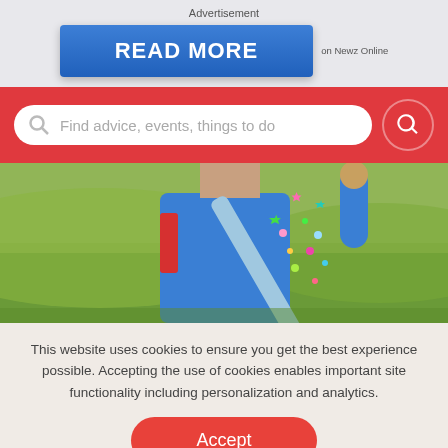Advertisement
[Figure (illustration): Blue button with text READ MORE on Newz Online advertisement banner]
[Figure (screenshot): Red search bar with placeholder text: Find advice, events, things to do]
[Figure (photo): Child wearing a blue shirt holding a kite decorated with colorful stars outdoors on a grassy field]
This website uses cookies to ensure you get the best experience possible. Accepting the use of cookies enables important site functionality including personalization and analytics.
Accept
Decline